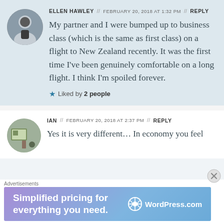ELLEN HAWLEY // FEBRUARY 20, 2018 AT 1:32 PM // REPLY
My partner and I were bumped up to business class (which is the same as first class) on a flight to New Zealand recently. It was the first time I've been genuinely comfortable on a long flight. I think I'm spoiled forever.
Liked by 2 people
IAN // FEBRUARY 20, 2018 AT 2:37 PM // REPLY
Yes it is very different… In economy you feel
Advertisements
[Figure (screenshot): WordPress.com advertisement banner: 'Simplified pricing for everything you need.' with WordPress.com logo]